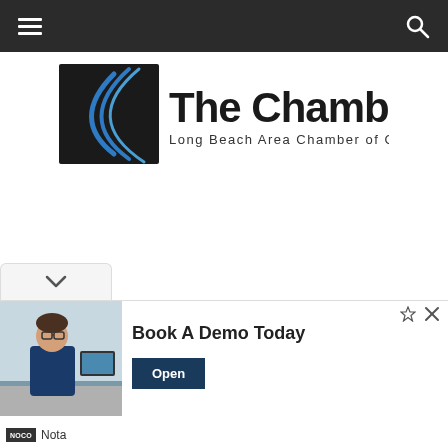Navigation bar with hamburger menu and search icon
[Figure (logo): The Chamber - Long Beach Area Chamber of Commerce logo with black square icon featuring blue arc lines and bold black text]
[Figure (infographic): Advertisement banner: Book A Demo Today - Nota, featuring a man in glasses at a desk, with an Open button]
Book A Demo Today
Nota